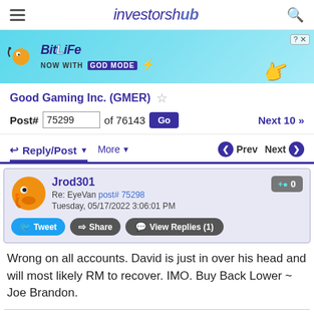investorshub
[Figure (illustration): BitLife advertisement banner - 'NOW WITH GOD MODE' promotional ad with lightning bolt graphic and hand pointing]
Good Gaming Inc. (GMER)
Post# 75299 of 76143 Go   Next 10 >>
Reply/Post ▼   More ▼   Prev   Next
Jrod301
Re: EyeVan post# 75298
Tuesday, 05/17/2022 3:06:01 PM
Tweet  Share  View Replies (1)
Wrong on all accounts. David is just in over his head and will most likely RM to recover. IMO. Buy Back Lower ~ Joe Brandon.